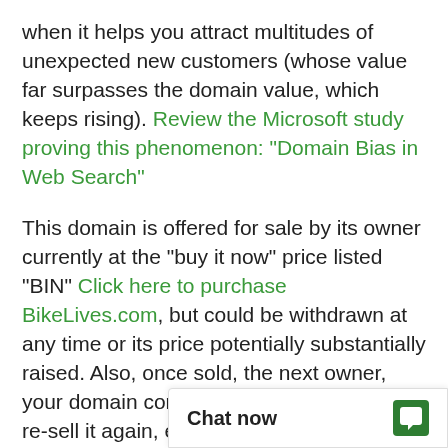when it helps you attract multitudes of unexpected new customers (whose value far surpasses the domain value, which keeps rising). Review the Microsoft study proving this phenomenon: "Domain Bias in Web Search"
This domain is offered for sale by its owner currently at the "buy it now" price listed "BIN" Click here to purchase BikeLives.com, but could be withdrawn at any time or its price potentially substantially raised. Also, once sold, the next owner, your domain competitor, would likely never re-sell it again, especially to his competitor; and would instead try to take all your customers and potential customers, year after year, to the extent possible, which you should do to them by purchasing the domain first.
You may find a Make O...
Chat now